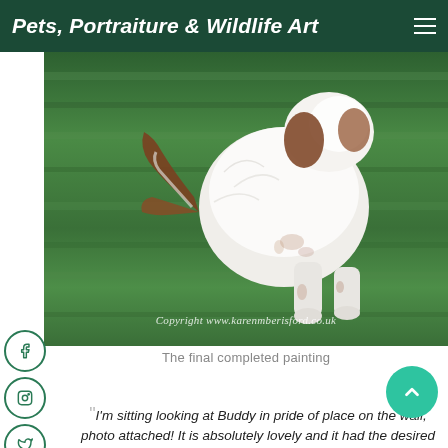Pets, Portraiture & Wildlife Art
[Figure (photo): A completed oil or pastel painting of a white and brown spaniel dog (Buddy) running/crouching on green grass, viewed from behind. Copyright watermark reads: Copyright www.karenmberisford.co.uk]
The final completed painting
"I'm sitting looking at Buddy in pride of place on the wall, photo attached! It is absolutely lovely and it had the desired effect on Steve when he unwrapped - there were tears!! Everyone that has seen it has said how amazing it is